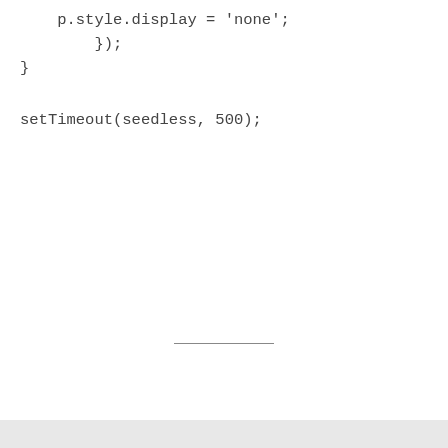p.style.display = 'none';
        });
}


setTimeout(seedless, 500);